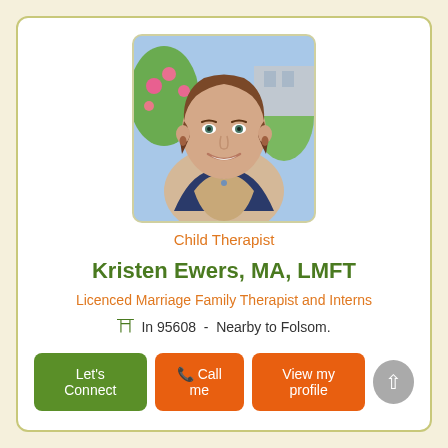[Figure (photo): Portrait photo of Kristen Ewers, a woman with short brown hair, smiling, wearing a beige top and jewelry, with flowers in the background]
Child Therapist
Kristen Ewers, MA, LMFT
Licenced Marriage Family Therapist and Interns
In 95608 - Nearby to Folsom.
Let's Connect | Call me | View my profile